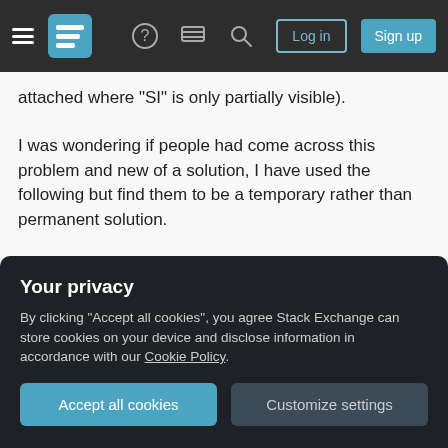Stack Exchange navigation header with hamburger menu, logo, help, chat, search, Log in, Sign up buttons
attached where "SI" is only partially visible).
I was wondering if people had come across this problem and new of a solution, I have used the following but find them to be a temporary rather than permanent solution.
(A) Increase the Patch Size - not always possible when there are lots of labels and not much map space.
(B) Use "Symbol Property Editor" -> "Fill Properties"
Your privacy
By clicking "Accept all cookies", you agree Stack Exchange can store cookies on your device and disclose information in accordance with our Cookie Policy.
Accept all cookies
Customize settings
functionality of the legend.